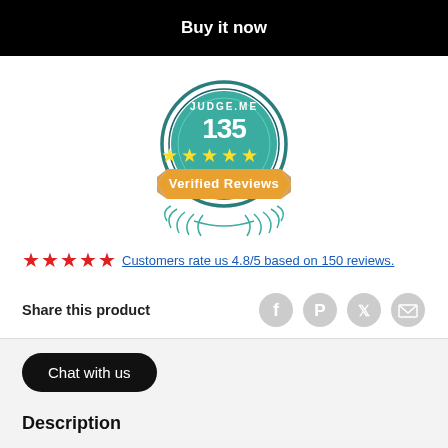Buy it now
[Figure (logo): Judge.me badge: teal circular badge with '135' and five yellow stars, orange ribbon saying 'Verified Reviews', decorative laurel wreath below]
Customers rate us 4.8/5 based on 150 reviews.
Share this product
[Figure (other): Social sharing icons: Facebook, Pinterest, Twitter, Email]
Chat with us
Description